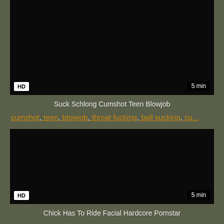[Figure (screenshot): Black video thumbnail with HD badge bottom-left and 5 min duration badge bottom-right]
Suck Schlong Cumshot Teen Blowjob
cumshot, teen, blowjob, throat fucking, ball sucking, cu...
[Figure (screenshot): Black video thumbnail with HD badge bottom-left and 5 min duration badge bottom-right]
Chick Has To Ride Facial Hardcore Pornstar